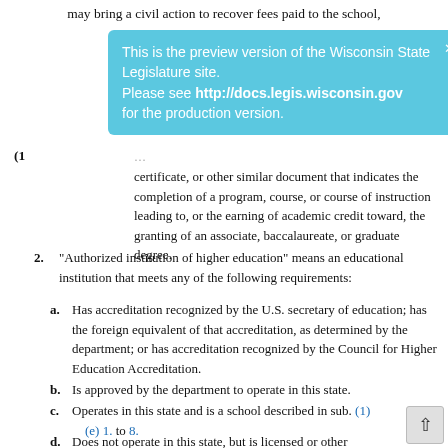may bring a civil action to recover fees paid to the school,
[Figure (screenshot): Preview banner overlay reading: 'This is the preview version of the Wisconsin State Legislature site. Please see http://docs.legis.wisconsin.gov for the production version.' with a close X button, styled in light blue.]
(1 [partial, obscured by banner] ... certificate, or other similar document that indicates the completion of a program, course, or course of instruction leading to, or the earning of academic credit toward, the granting of an associate, baccalaureate, or graduate degree.
2. "Authorized institution of higher education" means an educational institution that meets any of the following requirements:
a. Has accreditation recognized by the U.S. secretary of education; has the foreign equivalent of that accreditation, as determined by the department; or has accreditation recognized by the Council for Higher Education Accreditation.
b. Is approved by the department to operate in this state.
c. Operates in this state and is a school described in sub. (1) (e) 1. to 8.
d. Does not operate in this state, but is licensed or otherwise approved by the appropriate state agency of anothe[r]